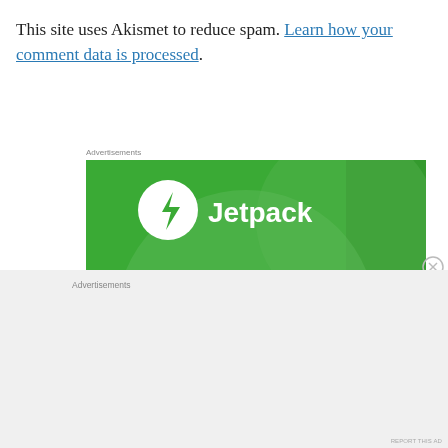This site uses Akismet to reduce spam. Learn how your comment data is processed.
Advertisements
[Figure (logo): Jetpack advertisement banner with green background, Jetpack logo and wordmark in white]
Advertisements
REPORT THIS AD